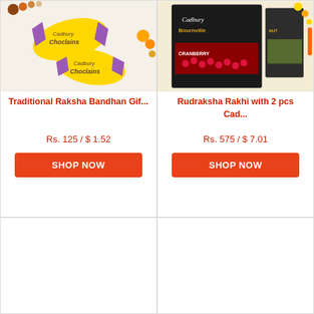[Figure (photo): Cadbury Choclairs chocolates with rakhi beads bracelet on white background]
Traditional Raksha Bandhan Gif...
Rs. 125 / $ 1.52
SHOP NOW
[Figure (photo): Cadbury Bournville dark chocolate bars with cranberry and nut, alongside rakhi accessories]
Rudraksha Rakhi with 2 pcs Cad...
Rs. 575 / $ 7.01
SHOP NOW